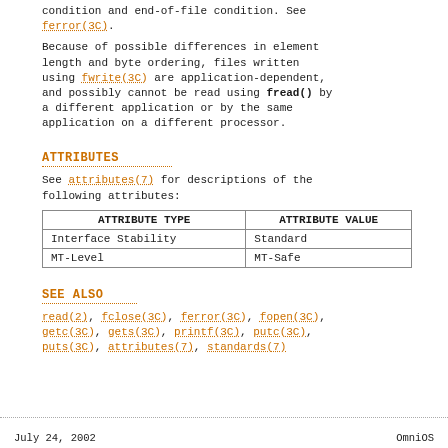condition and end-of-file condition. See ferror(3C).
Because of possible differences in element length and byte ordering, files written using fwrite(3C) are application-dependent, and possibly cannot be read using fread() by a different application or by the same application on a different processor.
ATTRIBUTES
See attributes(7) for descriptions of the following attributes:
| ATTRIBUTE TYPE | ATTRIBUTE VALUE |
| --- | --- |
| Interface Stability | Standard |
| MT-Level | MT-Safe |
SEE ALSO
read(2), fclose(3C), ferror(3C), fopen(3C), getc(3C), gets(3C), printf(3C), putc(3C), puts(3C), attributes(7), standards(7)
July 24, 2002                                                    OmniOS